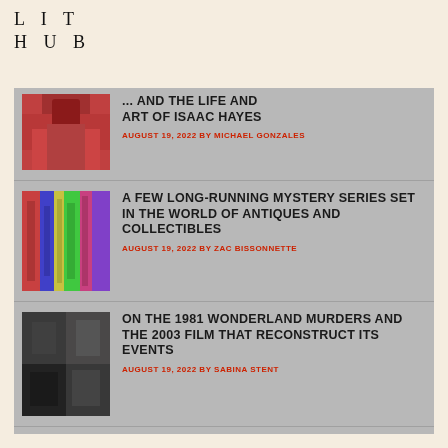LIT HUB
[Figure (screenshot): Lit Hub website listing of articles with thumbnails, titles, dates and authors]
... AND THE LIFE AND ART OF ISAAC HAYES
AUGUST 19, 2022 BY MICHAEL GONZALES
A FEW LONG-RUNNING MYSTERY SERIES SET IN THE WORLD OF ANTIQUES AND COLLECTIBLES
AUGUST 19, 2022 BY ZAC BISSONNETTE
ON THE 1981 WONDERLAND MURDERS AND THE 2003 FILM THAT RECONSTRUCT ITS EVENTS
AUGUST 19, 2022 BY SABINA STENT
CAN THE TECH INDUSTRY BE TRUSTED TO POLICE ITSELF?
AUGUST 19, 2022 BY MIKE TRIGG